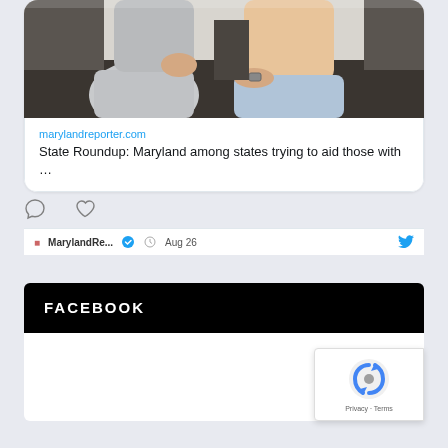[Figure (photo): Two people sitting on a couch, partially visible, one wearing a grey shirt and the other a light peach/tan top, screenshot from a Twitter card link preview]
marylandreporter.com
State Roundup: Maryland among states trying to aid those with …
FACEBOOK
[Figure (other): reCAPTCHA badge with logo and Privacy - Terms text]